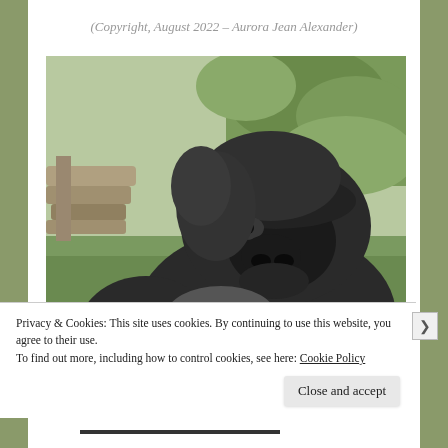(Copyright, August 2022 – Aurora Jean Alexander)
[Figure (photo): Close-up photograph of a large gorilla (silverback) sitting in a zoo enclosure with green grass and foliage in the background and a wooden structure visible on the left.]
Privacy & Cookies: This site uses cookies. By continuing to use this website, you agree to their use.
To find out more, including how to control cookies, see here: Cookie Policy
Close and accept